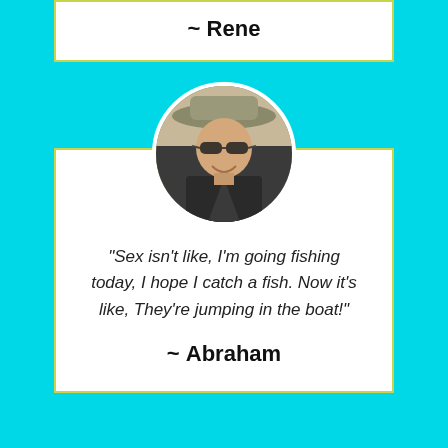~ Rene
[Figure (photo): Circular portrait photo of a smiling man wearing sunglasses and a wide-brimmed hat, outdoors.]
"Sex isn't like, I'm going fishing today, I hope I catch a fish. Now it's like, They're jumping in the boat!"
~ Abraham